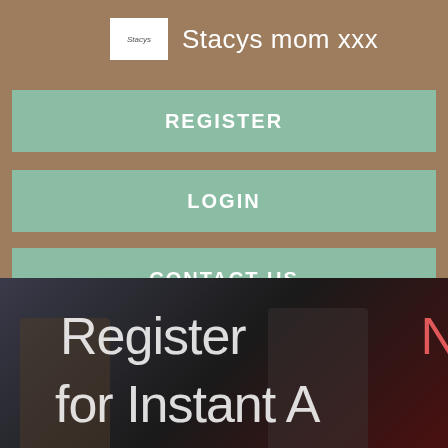Stacys mom xxx
REGISTER
LOGIN
CONTACT US
[Figure (photo): Dark background image with two figures/characters in Halloween or horror style costumes, with overlaid white and red text reading 'Register N' and 'for Instant A']